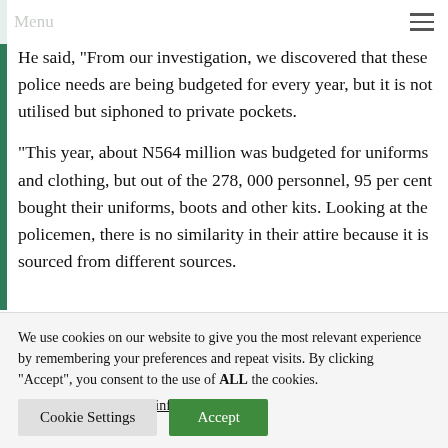Menu
He said, “From our investigation, we discovered that these police needs are being budgeted for every year, but it is not utilised but siphoned to private pockets.
“This year, about N564 million was budgeted for uniforms and clothing, but out of the 278, 000 personnel, 95 per cent bought their uniforms, boots and other kits. Looking at the policemen, there is no similarity in their attire because it is sourced from different sources.
We use cookies on our website to give you the most relevant experience by remembering your preferences and repeat visits. By clicking “Accept”, you consent to the use of ALL the cookies. Do not sell my personal information.